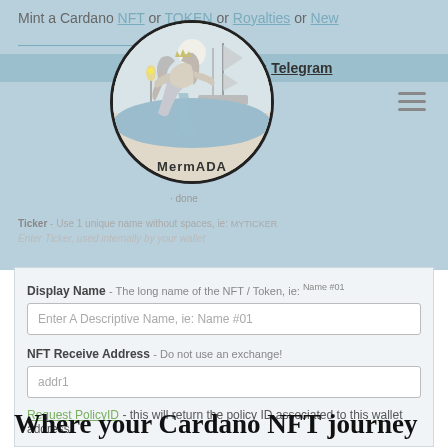Mint a Cardano NFT or TOKEN or Royalties or New to Minting
do, reach out on: Telegram
[Figure (logo): MermADA circular logo featuring a mermaid illustration with a ship in the background, black border circle]
· done
Ticker - Use 1 unique name without spaces, ie: MYTICKER
Enter Ticker, used internally by your wallet
Display Name - The long name of the NFT / Token, ie: Name #01
Enter A Descriptive Name, ie: Name #01
NFT Receive Address - Do not use an exchange!
addr1
Request PolicyID - this will return the policy ID associated to this wallet address.
Where your Cardano NFT journey